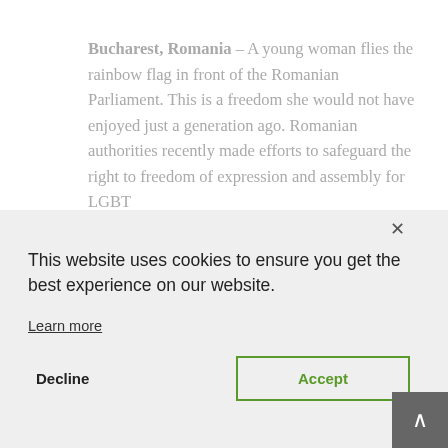Bucharest, Romania – A young woman flies the rainbow flag in front of the Romanian Parliament. This is a freedom she would not have enjoyed just a generation ago. Romanian authorities recently made efforts to safeguard the right to freedom of expression and assembly for LGBT
This website uses cookies to ensure you get the best experience on our website.
Learn more
Decline
Accept